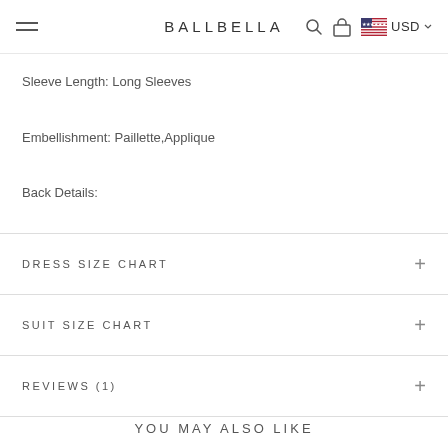BALLBELLA USD
Sleeve Length: Long Sleeves
Embellishment: Paillette,Applique
Back Details:
DRESS SIZE CHART
SUIT SIZE CHART
REVIEWS (1)
YOU MAY ALSO LIKE